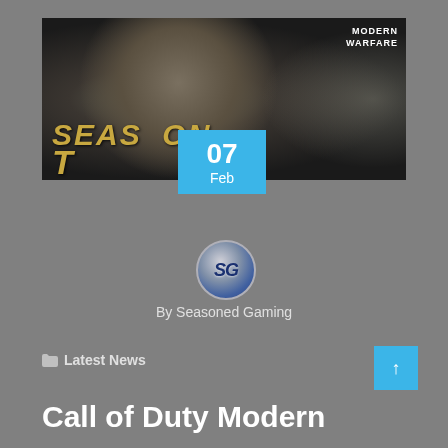[Figure (photo): Call of Duty Modern Warfare Season Two promotional banner showing a masked soldier with a scoped rifle, with 'SEASON TWO' text overlay in gold and 'MODERN WARFARE' logo in top right]
07
Feb
[Figure (logo): Seasoned Gaming circular logo with 'SG' initials on a silvery-blue gradient background]
By Seasoned Gaming
Latest News
Call of Duty Modern